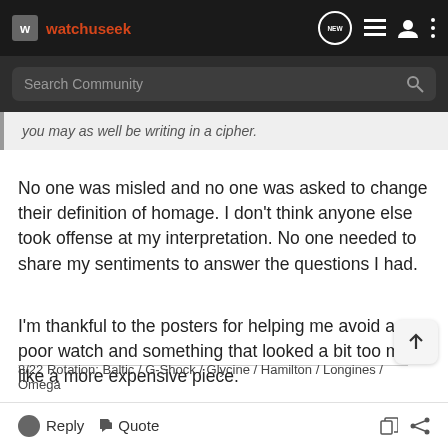watchuseek
Search Community
you may as well be writing in a cipher.
No one was misled and no one was asked to change their definition of homage. I don't think anyone else took offense at my interpretation. No one needed to share my sentiments to answer the questions I had.
I'm thankful to the posters for helping me avoid a poor watch and something that looked a bit too much like a more expensive piece.
8/22 Rotation: Baltic / G-Shock / Glycine / Hamilton / Longines / Omega